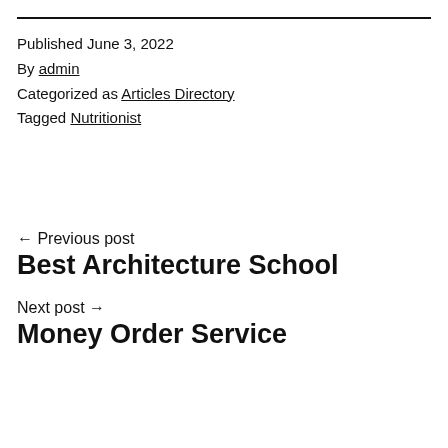Published June 3, 2022
By admin
Categorized as Articles Directory
Tagged Nutritionist
← Previous post
Best Architecture School
Next post →
Money Order Service